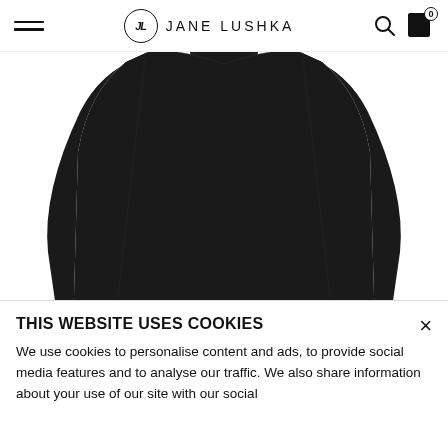JL JANE LUSHKA
[Figure (photo): Black long-sleeve top with mock neck, shown from the back on a white background. The garment is all black with a fitted silhouette.]
THIS WEBSITE USES COOKIES
We use cookies to personalise content and ads, to provide social media features and to analyse our traffic. We also share information about your use of our site with our social